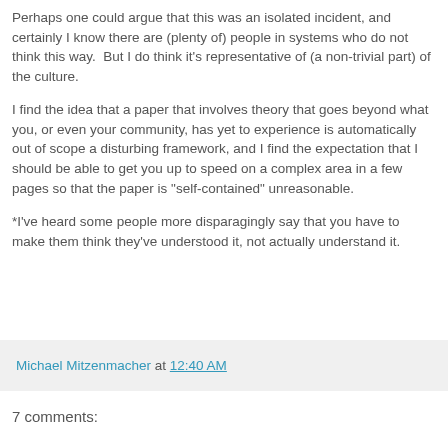Perhaps one could argue that this was an isolated incident, and certainly I know there are (plenty of) people in systems who do not think this way.  But I do think it's representative of (a non-trivial part) of the culture.
I find the idea that a paper that involves theory that goes beyond what you, or even your community, has yet to experience is automatically out of scope a disturbing framework, and I find the expectation that I should be able to get you up to speed on a complex area in a few pages so that the paper is "self-contained" unreasonable.
*I've heard some people more disparagingly say that you have to make them think they've understood it, not actually understand it.
Michael Mitzenmacher at 12:40 AM
7 comments: